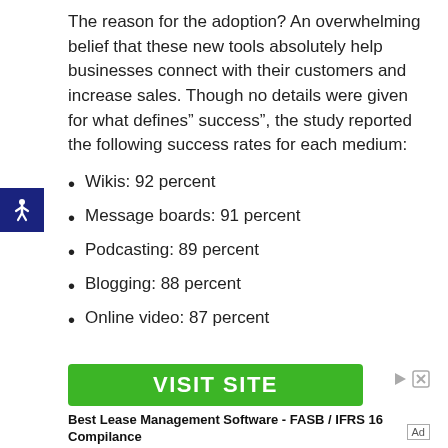The reason for the adoption? An overwhelming belief that these new tools absolutely help businesses connect with their customers and increase sales. Though no details were given for what defines” success”, the study reported the following success rates for each medium:
Wikis: 92 percent
Message boards: 91 percent
Podcasting: 89 percent
Blogging: 88 percent
Online video: 87 percent
[Figure (other): Green VISIT SITE button advertisement with ad controls (play and close icons). Below: bold text 'Best Lease Management Software - FASB / IFRS 16 Compilance'. Ad label in bottom right.]